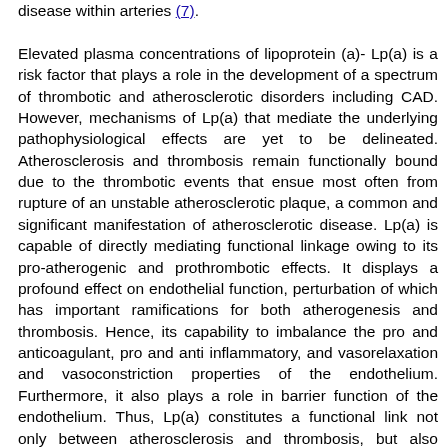disease within arteries (7). Elevated plasma concentrations of lipoprotein (a)- Lp(a) is a risk factor that plays a role in the development of a spectrum of thrombotic and atherosclerotic disorders including CAD. However, mechanisms of Lp(a) that mediate the underlying pathophysiological effects are yet to be delineated. Atherosclerosis and thrombosis remain functionally bound due to the thrombotic events that ensue most often from rupture of an unstable atherosclerotic plaque, a common and significant manifestation of atherosclerotic disease. Lp(a) is capable of directly mediating functional linkage owing to its pro-atherogenic and prothrombotic effects. It displays a profound effect on endothelial function, perturbation of which has important ramifications for both atherogenesis and thrombosis. Hence, its capability to imbalance the pro and anticoagulant, pro and anti inflammatory, and vasorelaxation and vasoconstriction properties of the endothelium. Furthermore, it also plays a role in barrier function of the endothelium. Thus, Lp(a) constitutes a functional link not only between atherosclerosis and thrombosis, but also between endothelial function and both of the